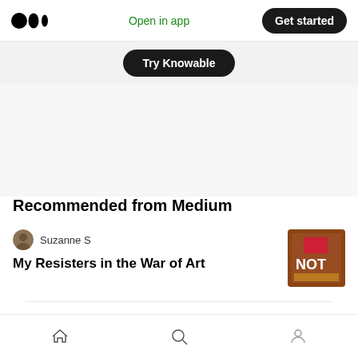Medium logo | Open in app | Get started
[Figure (screenshot): Try Knowable button (dark pill button)]
Recommended from Medium
Suzanne S — My Resisters in the War of Art
Dr Mehmet Yildiz in ILLUMINATION — Entrepreneurship & Creativity
Bottom navigation: Home, Search, Profile